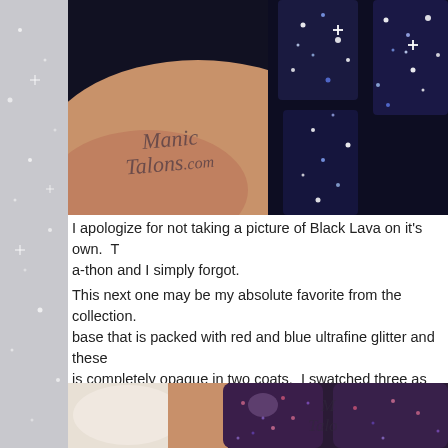[Figure (photo): Close-up photo of nails painted with dark navy/black glitter nail polish (Black Lava), showing glitter particles reflecting light, with ManicTalons.com watermark]
I apologize for not taking a picture of Black Lava on it's own.  T... a-thon and I simply forgot.
This next one may be my absolute favorite from the collection.  base that is packed with red and blue ultrafine glitter and these is completely opaque in two coats.  I swatched three as usual f... needed at all.  The second shot is blurred slightly to show the d...
[Figure (photo): Close-up photo of nails painted with dark purple glitter nail polish, showing red and blue ultrafine glitter particles, with partial Talons watermark visible]